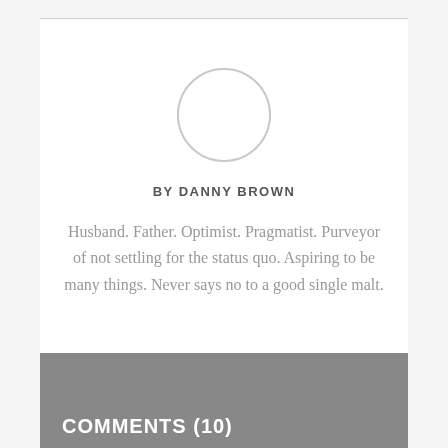[Figure (illustration): Empty circular avatar placeholder outline]
BY DANNY BROWN
Husband. Father. Optimist. Pragmatist. Purveyor of not settling for the status quo. Aspiring to be many things. Never says no to a good single malt.
COMMENTS (10)